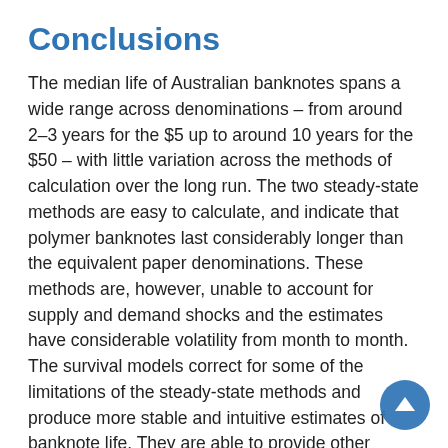Conclusions
The median life of Australian banknotes spans a wide range across denominations – from around 2–3 years for the $5 up to around 10 years for the $50 – with little variation across the methods of calculation over the long run. The two steady-state methods are easy to calculate, and indicate that polymer banknotes last considerably longer than the equivalent paper denominations. These methods are, however, unable to account for supply and demand shocks and the estimates have considerable volatility from month to month. The survival models correct for some of the limitations of the steady-state methods and produce more stable and intuitive estimates of banknote life. They are able to provide other useful information, such as the proportion of banknotes for each denomination that actively circulate (as opposed to being used fo